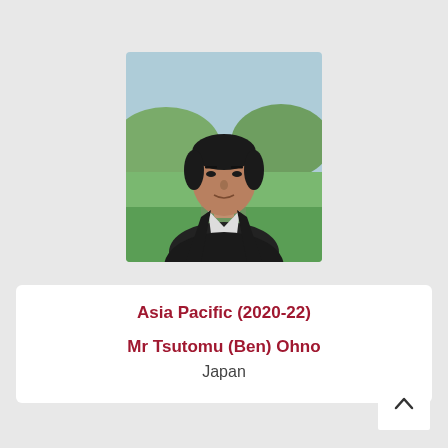[Figure (photo): Headshot of Mr Tsutomu (Ben) Ohno, a middle-aged Japanese man wearing a dark jacket and white shirt, with a golf course / green outdoor background]
Asia Pacific (2020-22)
Mr Tsutomu (Ben) Ohno
Japan